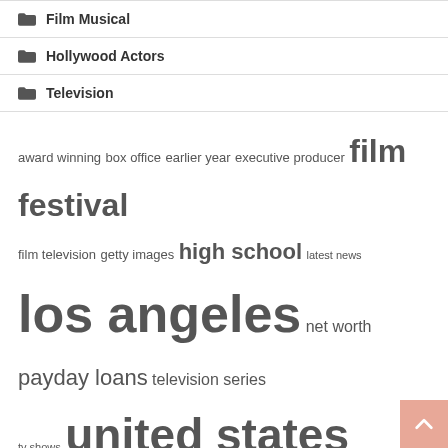Film Musical
Hollywood Actors
Television
[Figure (infographic): Tag cloud with words of varying sizes: award winning, box office, earlier year, executive producer, film festival (largest), film television, getty images, high school (large), latest news, los angeles (very large), net worth, payday loans, television series, tv shows, united states (very large)]
Recent Posts
Pantages Theater's 'Moulin Rouge' wins stunning ovations – The Hollywood Reporter